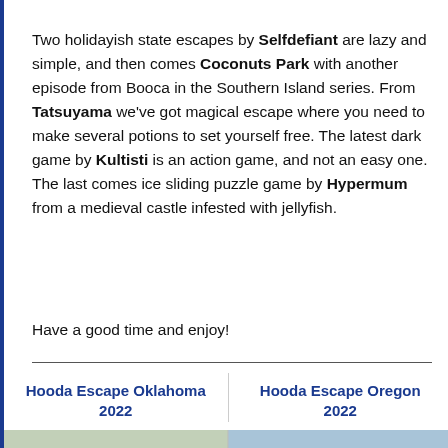Two holidayish state escapes by Selfdefiant are lazy and simple, and then comes Coconuts Park with another episode from Booca in the Southern Island series. From Tatsuyama we've got magical escape where you need to make several potions to set yourself free. The latest dark game by Kultisti is an action game, and not an easy one. The last comes ice sliding puzzle game by Hypermum from a medieval castle infested with jellyfish.
Have a good time and enjoy!
Hooda Escape Oklahoma 2022
Hooda Escape Oregon 2022
[Figure (illustration): Two game screenshots side by side at the bottom of the page, partially visible. Left shows a building scene (Oklahoma), right shows a waterfront/harbor scene (Oregon).]